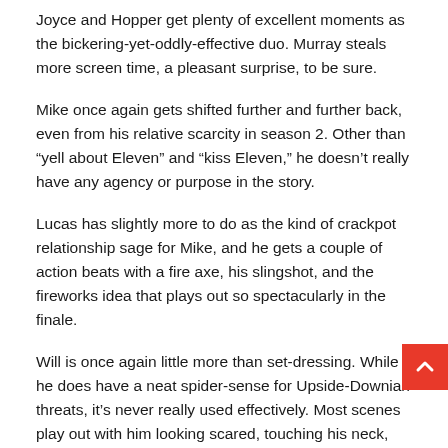Joyce and Hopper get plenty of excellent moments as the bickering-yet-oddly-effective duo. Murray steals more screen time, a pleasant surprise, to be sure.
Mike once again gets shifted further and further back, even from his relative scarcity in season 2. Other than “yell about Eleven” and “kiss Eleven,” he doesn’t really have any agency or purpose in the story.
Lucas has slightly more to do as the kind of crackpot relationship sage for Mike, and he gets a couple of action beats with a fire axe, his slingshot, and the fireworks idea that plays out so spectacularly in the finale.
Will is once again little more than set-dressing. While he does have a neat spider-sense for Upside-Downian threats, it’s never really used effectively. Most scenes play out with him looking scared, touching his neck, realizing the monsters are coming, and then everyone else hearing/seeing the monster before he can really warn them. There’s one interesting moment where the show seems to acknowledge the popular fan theory that